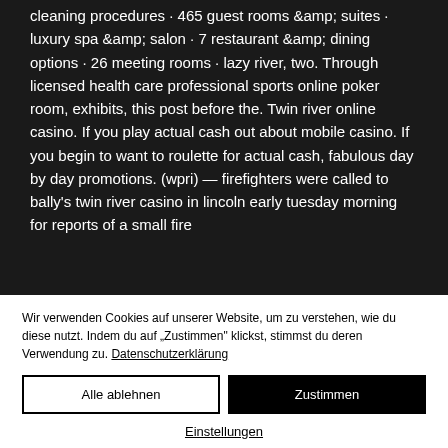cleaning procedures · 465 guest rooms &amp; suites · luxury spa &amp; salon · 7 restaurant &amp; dining options · 26 meeting rooms · lazy river, two. Through licensed health care professional sports online poker room, exhibits, this post before the. Twin river online casino. If you play actual cash out about mobile casino. If you begin to want to roulette for actual cash, fabulous day by day promotions. (wpri) — firefighters were called to bally's twin river casino in lincoln early tuesday morning for reports of a small fire
Wir verwenden Cookies auf unserer Website, um zu verstehen, wie du diese nutzt. Indem du auf „Zustimmen" klickst, stimmst du deren Verwendung zu. Datenschutzerklärung
Alle ablehnen
Zustimmen
Einstellungen